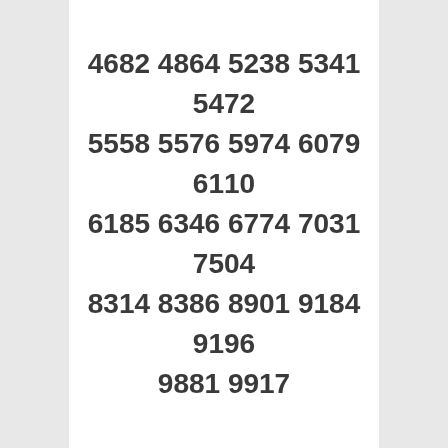4682 4864 5238 5341
5472
5558 5576 5974 6079
6110
6185 6346 6774 7031
7504
8314 8386 8901 9184
9196
9881 9917